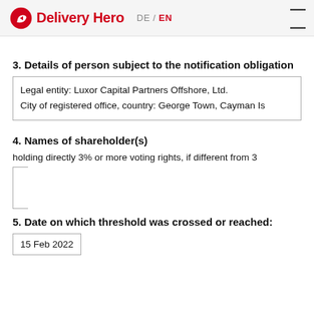Delivery Hero  DE / EN
3. Details of person subject to the notification obligation
| Legal entity: Luxor Capital Partners Offshore, Ltd. |
| City of registered office, country: George Town, Cayman Is… |
4. Names of shareholder(s)
holding directly 3% or more voting rights, if different from 3.
|  |
5. Date on which threshold was crossed or reached:
| 15 Feb 2022 |